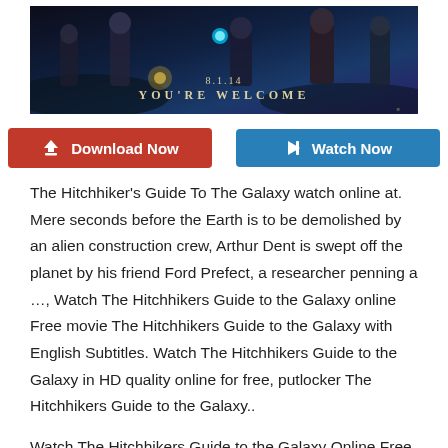[Figure (photo): Movie promotional banner image showing characters in a dark sci-fi setting. Text reads '8.1.14 YOU'RE WELCOME']
[Figure (other): Two buttons side by side: red 'Download Now' button with download icon, and blue 'Watch Now' button with play icon]
The Hitchhiker's Guide To The Galaxy watch online at. Mere seconds before the Earth is to be demolished by an alien construction crew, Arthur Dent is swept off the planet by his friend Ford Prefect, a researcher penning a …, Watch The Hitchhikers Guide to the Galaxy online Free movie The Hitchhikers Guide to the Galaxy with English Subtitles. Watch The Hitchhikers Guide to the Galaxy in HD quality online for free, putlocker The Hitchhikers Guide to the Galaxy..
Watch The Hitchhikers Guide to the Galaxy Online Free on. Mere seconds before the Earth is to be demolished by an alien construction crew, Arthur Dent is swept off the planet by